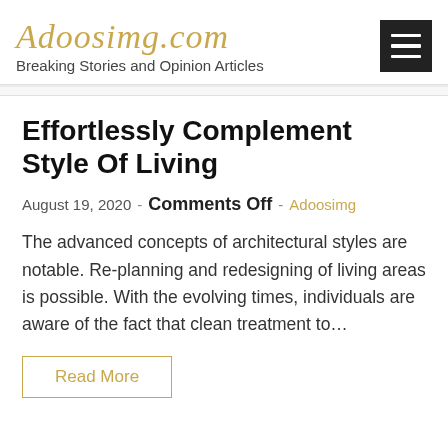Adoosimg.com
Breaking Stories and Opinion Articles
Effortlessly Complement Style Of Living
August 19, 2020 - Comments Off - Adoosimg
The advanced concepts of architectural styles are notable. Re-planning and redesigning of living areas is possible. With the evolving times, individuals are aware of the fact that clean treatment to…
Read More